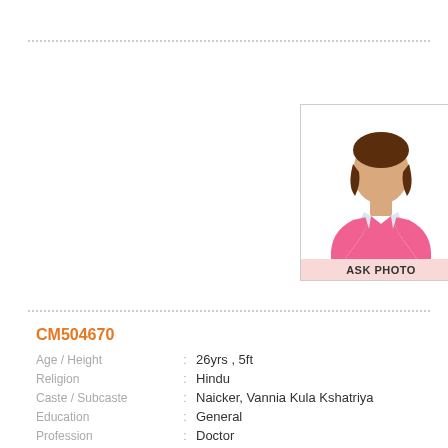[Figure (illustration): Generic female silhouette avatar in pink blazer with brown hair, placeholder profile photo with 'ASK PHOTO' label at bottom]
CM504670
| Field | : | Value |
| --- | --- | --- |
| Age / Height | : | 26yrs , 5ft |
| Religion | : | Hindu |
| Caste / Subcaste | : | Naicker, Vannia Kula Kshatriya |
| Education | : | General |
| Profession | : | Doctor |
| Salary | : | 40,000 - 50,000 |
| Location | : | Kanchepuram |
| Star / Rasi | : | Does not matter ,Does not matter; |